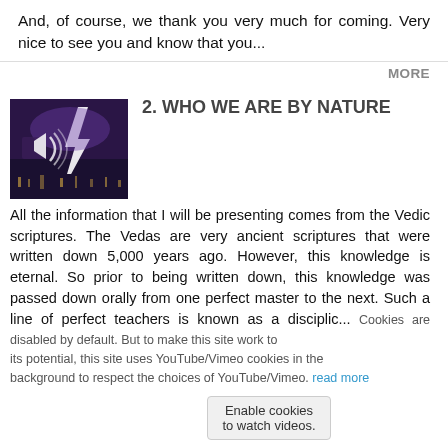And, of course, we thank you very much for coming. Very nice to see you and know that you...
MORE
[Figure (photo): Thumbnail image of lightning strike over a city at night with a purple stormy sky and a speaker/sound icon overlay]
2. WHO WE ARE BY NATURE
All the information that I will be presenting comes from the Vedic scriptures. The Vedas are very ancient scriptures that were written down 5,000 years ago. However, this knowledge is eternal. So prior to being written down, this knowledge was passed down orally from one perfect master to the next. Such a line of perfect teachers is known as a disciplic...
Cookies are disabled by default. But to make this site work to its potential, this site uses YouTube/Vimeo cookies in the background to respect the choices of YouTube/Vimeo. (You can disable the cookies on your privacy settings page) read more
Enable cookies to watch videos.
MORE
[Figure (photo): Thumbnail image of lightning or bright light in a blue stormy sky]
3. THE WORLD SEEMS